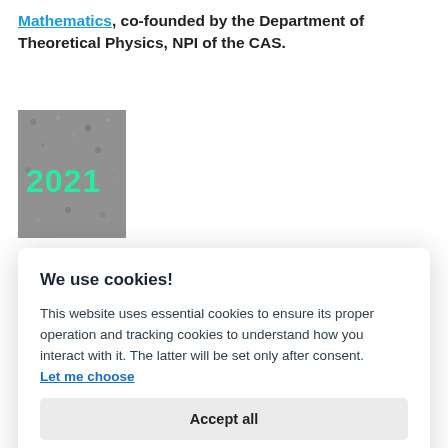Mathematics, co-founded by the Department of Theoretical Physics, NPI of the CAS.
[Figure (other): Thumbnail image showing '2021' text in teal/green color over a dark textured background]
We use cookies!
This website uses essential cookies to ensure its proper operation and tracking cookies to understand how you interact with it. The latter will be set only after consent. Let me choose
Accept all
Reject all